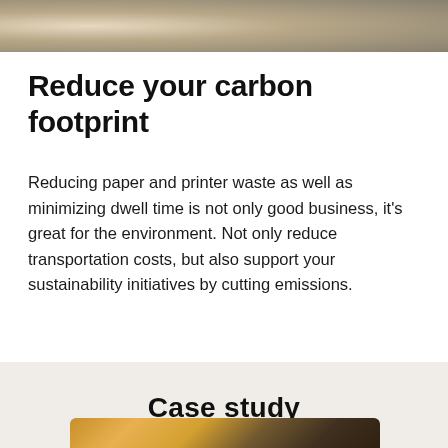[Figure (photo): Top portion of a photo, cropped, showing a person or scene outdoors with warm tones]
Reduce your carbon footprint
Reducing paper and printer waste as well as minimizing dwell time is not only good business, it’s great for the environment. Not only reduce transportation costs, but also support your sustainability initiatives by cutting emissions.
Case study
[Figure (photo): Bottom photo showing packages and parcels being sorted, hands visible handling yellow/brown packages in sorting trays]